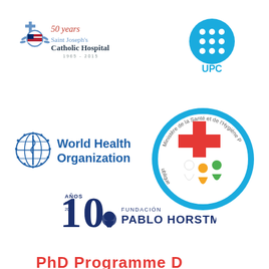[Figure (logo): 50 years Saint Joseph's Catholic Hospital 1965-2015 logo with cross and American flag emblem]
[Figure (logo): UPC logo - blue circle with white dots arranged in 3x3 grid pattern]
[Figure (logo): World Health Organization logo with blue emblem and text]
[Figure (logo): Ministere de la Sante et de l'Hygiene Publique circular logo with red cross and figures]
[Figure (logo): Fundacion Pablo Horstmann 10 anos logo]
[Figure (logo): Partial red/pink text at bottom of page - partially cut off]